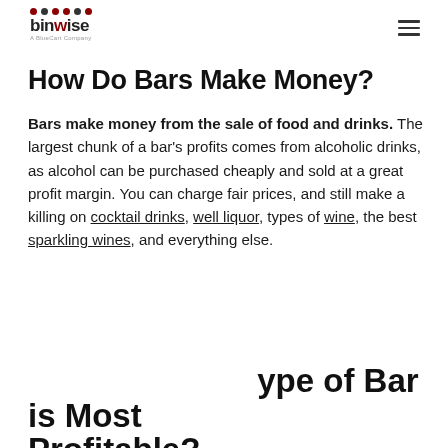binwise — A BlueCart Company
How Do Bars Make Money?
Bars make money from the sale of food and drinks. The largest chunk of a bar's profits comes from alcoholic drinks, as alcohol can be purchased cheaply and sold at a great profit margin. You can charge fair prices, and still make a killing on cocktail drinks, well liquor, types of wine, the best sparkling wines, and everything else.
What Type of Bar is Most Profitable?